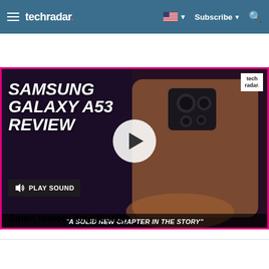techradar | Subscribe | Search
[Figure (screenshot): Samsung Galaxy A53 Review video thumbnail showing a hand holding a rose-gold Samsung phone with multiple cameras visible. Text reads 'SAMSUNG GALAXY A53 REVIEW' and quote 'A SOLID NEW CHAPTER IN THE STORY'. A play button circle is centered on the image. A 'PLAY SOUND' button appears at bottom left. TechRadar badge in top right corner.]
Smart remote functionality